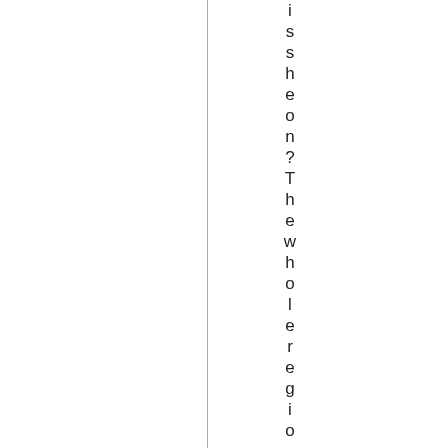issheon?Thewholeregionis t
[Figure (other): Vertical line dividing the page into two columns]